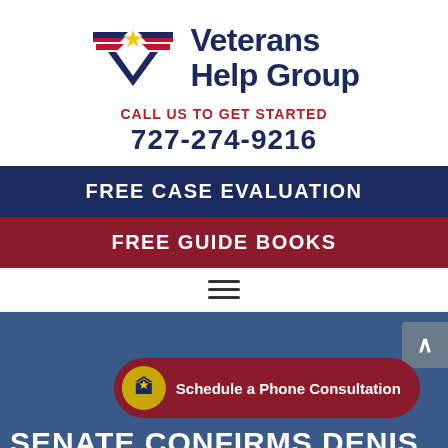[Figure (logo): Veterans Help Group logo with navy V-shape, red wing stripes, and gold star]
CALL US TO GET STARTED
727-274-9216
FREE CASE EVALUATION
FREE GUIDE BOOKS
[Figure (screenshot): Blue background hero image section of website]
Schedule a Phone Consultation
SENATE CONFIRMS DENIS